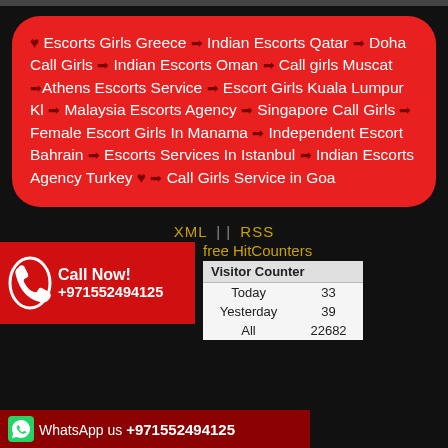♥ Escorts Girls Greece ➡ Indian Escorts Qatar ➡ Doha Call Girls ➡ Indian Escorts Oman ➡ Call girls Muscat ➡Athens Escorts Service ➡ Escort Girls Kuala Lumpur Kl ➡ Malaysia Escorts Agency ➡ Singapore Call Girls ➡ Female Escort Girls In Manama ➡ Independent Escort Bahrain ➡ Escorts Services In Istanbul ➡ Indian Escorts Agency Turkey ♥ ➡ Call Girls Service in Goa
XML || RSS
free HitCounters
| Visitor Counter |  |
| --- | --- |
| Today | 33 |
| Yesterday | 39 |
| All | 22682 |
Call Now! +971552494125
WhatsApp us +971552494125